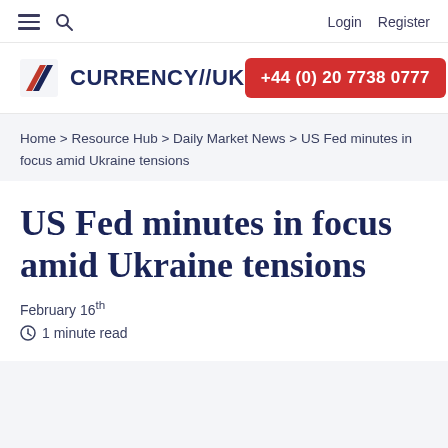≡  🔍    Login  Register
[Figure (logo): Currency//UK logo with red and blue striped flag icon and dark blue CURRENCY//UK text]
+44 (0) 20 7738 0777
Home > Resource Hub > Daily Market News > US Fed minutes in focus amid Ukraine tensions
US Fed minutes in focus amid Ukraine tensions
February 16th
1 minute read